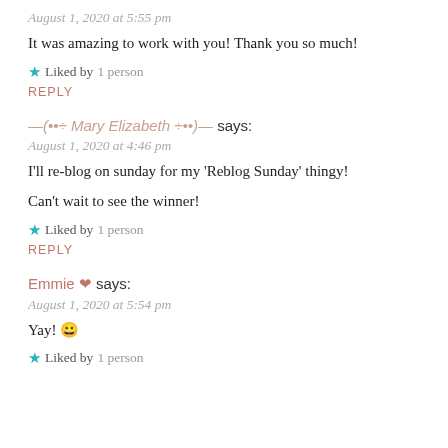August 1, 2020 at 5:55 pm
It was amazing to work with you! Thank you so much!
★ Liked by 1 person
REPLY
—(••÷ Mary Elizabeth ÷••)— says:
August 1, 2020 at 4:46 pm
I'll re-blog on sunday for my 'Reblog Sunday' thingy!
Can't wait to see the winner!
★ Liked by 1 person
REPLY
Emmie ❤ says:
August 1, 2020 at 5:54 pm
Yay! 😀
★ Liked by 1 person